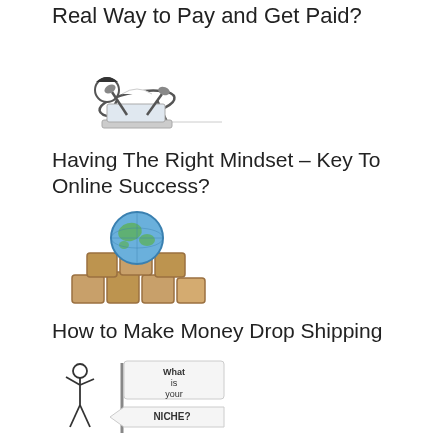Real Way to Pay and Get Paid?
[Figure (illustration): Person bending backward over a laptop computer]
Having The Right Mindset – Key To Online Success?
[Figure (illustration): A globe sitting on top of stacked brown boxes, representing drop shipping]
How to Make Money Drop Shipping
[Figure (illustration): Stick figure with signpost signs saying 'What is your NICHE?']
How To Find a Niche – This Can Be Confusing